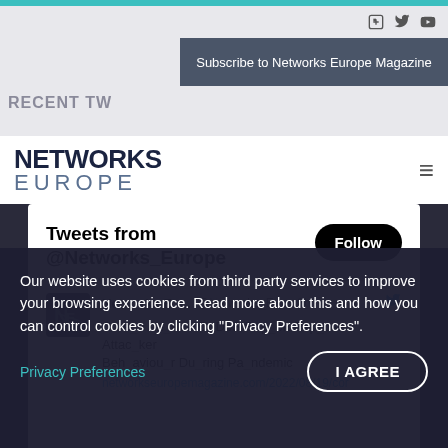Subscribe to Networks Europe Magazine
RECENT TW...
[Figure (logo): Networks Europe magazine logo with bold NETWORKS text and lighter EUROPE text below]
Tweets from @Networks_Europe
Follow
Networks Eur.. @Networks_Eu... · 3h
Corero Annual DDoS Report Exposes Attacker Behaviour During Pandemic
networkseuropemagazine.com/2022/08/19/cor
Our website uses cookies from third party services to improve your browsing experience. Read more about this and how you can control cookies by clicking "Privacy Preferences".
Privacy Preferences
I AGREE